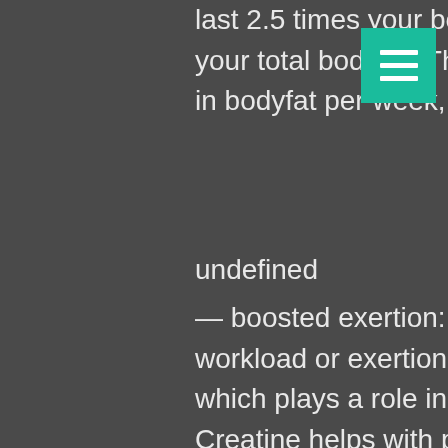last 2.5 times your bodyfat percentage or 1.8% of your total bodyfat. That's 5 pounds and a 1lb drop in bodyfat per week, creating muscle growth.
undefined
— boosted exertion: creatine can help boost total workload or exertion during training sessions, which plays a role in long-term muscle growth. Creatine helps with protein synthesis, and this can ultimately help you enhance muscle growth. Автор: cs can — the goal of creatine monohydrate supplementation (cs) is to deliver a greater and prolonged accrual of gains, as opposed to a non-supplemented state, that can. 7 дней назад — creatine is among the most well-researched and effective supplements. It can help with exercise performance by